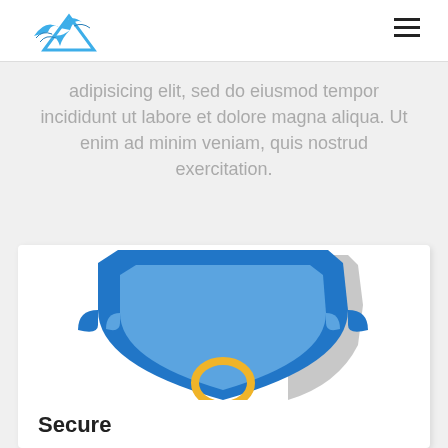[Logo: bird/eagle icon] [Hamburger menu]
adipisicing elit, sed do eiusmod tempor incididunt ut labore et dolore magna aliqua. Ut enim ad minim veniam, quis nostrud exercitation.
[Figure (illustration): A blue security shield icon with a yellow padlock/ring at the bottom center, shown cropped inside a white card. A gray shadow element is visible behind the right side of the shield.]
Secure